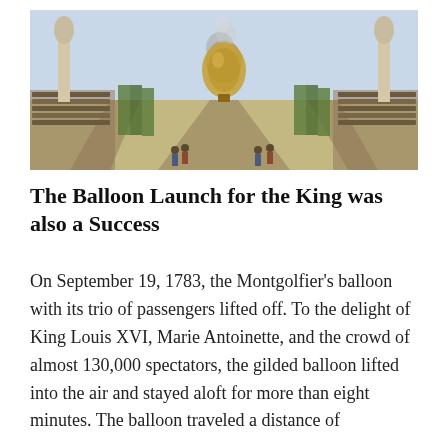[Figure (illustration): Historical illustration of the Montgolfier balloon launch at Versailles, showing a large crowd lining the grounds, statues on either side, and a hot air balloon with smoke rising from it in the center, with formal garden paths leading to it.]
The Balloon Launch for the King was also a Success
On September 19, 1783, the Montgolfier's balloon with its trio of passengers lifted off. To the delight of King Louis XVI, Marie Antoinette, and the crowd of almost 130,000 spectators, the gilded balloon lifted into the air and stayed aloft for more than eight minutes. The balloon traveled a distance of